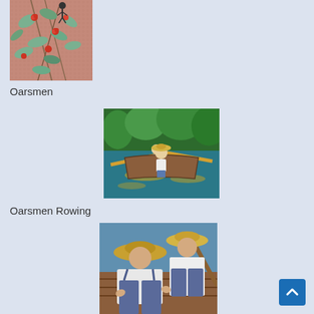[Figure (photo): Cropped floral painting with green leaves and red flowers on a pink/copper textured background, top-left corner]
Oarsmen
[Figure (photo): Painting of oarsmen rowing on a green river surrounded by trees, viewed from behind one rower in a straw hat in a wooden boat with yellow oars]
Oarsmen Rowing
[Figure (photo): Close-up painting of two men in straw hats rowing a wooden boat, viewed from inside the boat looking forward]